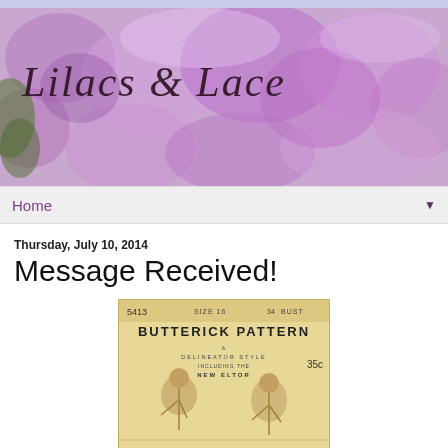[Figure (photo): Blog header banner with purple lilac flowers background and cursive text 'Lilacs & Lace']
Home ▼
Thursday, July 10, 2014
Message Received!
[Figure (photo): Vintage Butterick Pattern envelope #5413, Size 16, 34 Bust, 35c price, showing two women's fashion illustrations, labeled as a Delineator Style including the New Eltor]